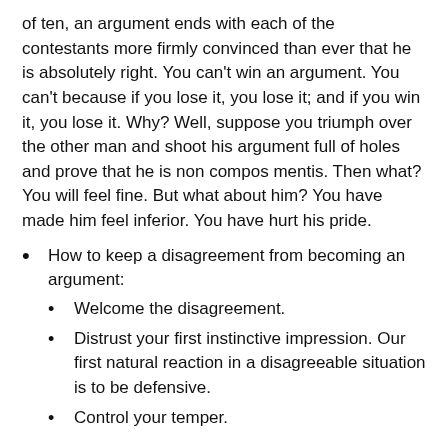of ten, an argument ends with each of the contestants more firmly convinced than ever that he is absolutely right. You can't win an argument. You can't because if you lose it, you lose it; and if you win it, you lose it. Why? Well, suppose you triumph over the other man and shoot his argument full of holes and prove that he is non compos mentis. Then what? You will feel fine. But what about him? You have made him feel inferior. You have hurt his pride.
How to keep a disagreement from becoming an argument:
Welcome the disagreement.
Distrust your first instinctive impression. Our first natural reaction in a disagreeable situation is to be defensive.
Control your temper.